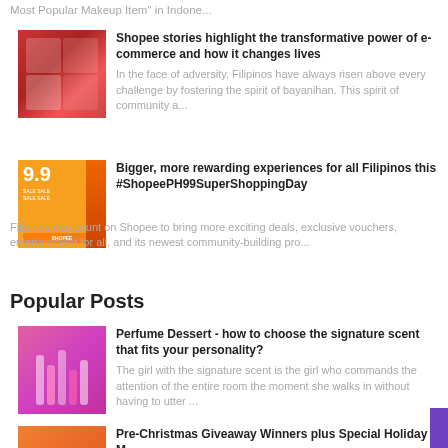Most Popular Makeup Item" in Indone...
[Figure (photo): Group photo thumbnail for Shopee stories article]
Shopee stories highlight the transformative power of e-commerce and how it changes lives
In the face of adversity, Filipinos have always risen above every challenge by fostering the spirit of bayanihan. This spirit of community a...
[Figure (photo): Shopee 9.9 Super Shopping Day orange promotional banner]
Bigger, more rewarding experiences for all Filipinos this #ShopeePH99SuperShoppingDay
Filipinos can count on Shopee to bring more exciting deals, exclusive vouchers, entertainment for all, and its newest community-building pro...
Popular Posts
[Figure (photo): Pink perfume/lipstick products thumbnail]
Perfume Dessert - how to choose the signature scent that fits your personality?
The girl with the signature scent is the girl who commands the attention of the entire room the moment she walks in without having to utter ...
[Figure (photo): Christmas/holiday orange themed thumbnail]
Pre-Christmas Giveaway Winners plus Special Holiday M...